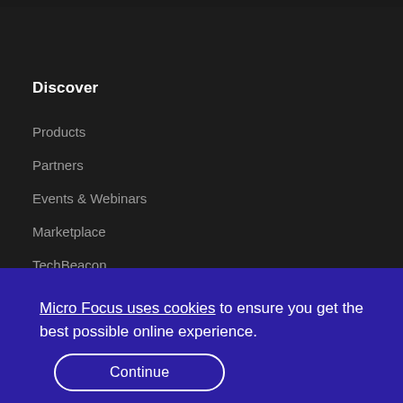Discover
Products
Partners
Events & Webinars
Marketplace
TechBeacon
Micro Focus uses cookies to ensure you get the best possible online experience.
Continue